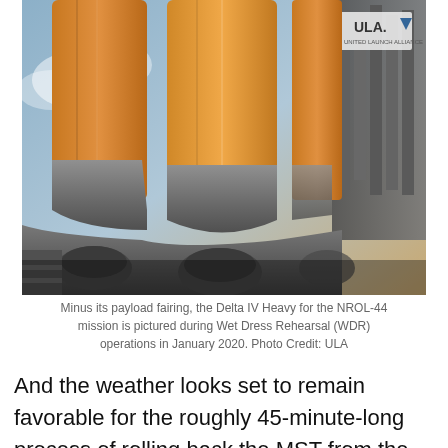[Figure (photo): Delta IV Heavy rocket without payload fairing, showing three orange booster cores with gray metallic skirts and structural base, photographed from below during Wet Dress Rehearsal operations. ULA logo visible in upper right corner.]
Minus its payload fairing, the Delta IV Heavy for the NROL-44 mission is pictured during Wet Dress Rehearsal (WDR) operations in January 2020. Photo Credit: ULA
And the weather looks set to remain favorable for the roughly 45-minute-long process of rolling back the MST from the Delta IV Heavy on Tuesday. “Tomorrow,